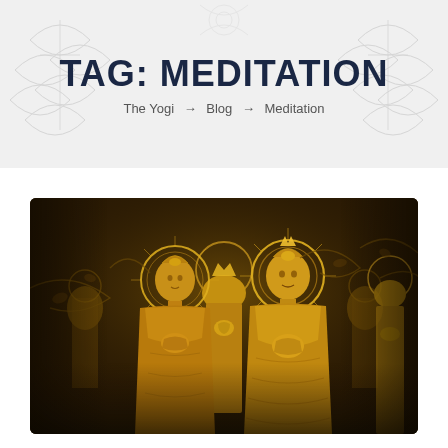TAG: MEDITATION
The Yogi → Blog → Meditation
[Figure (photo): Multiple golden Buddhist statues standing in a row with halos, hands in prayer position, ornate gold carvings and decorative elements surrounding them in a temple setting.]